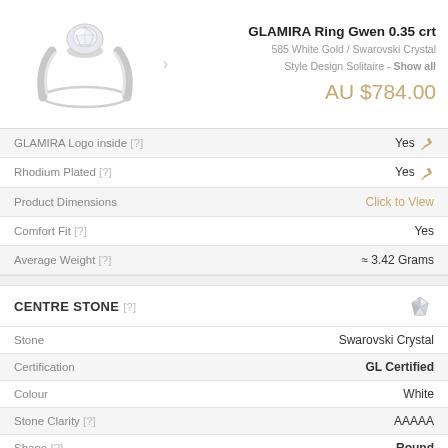[Figure (photo): Silver/white gold solitaire ring with crystal stone on white background]
GLAMIRA Ring Gwen 0.35 crt
585 White Gold / Swarovski Crystal
Style Design Solitaire - Show all
AU $784.00
| Property | Value |
| --- | --- |
| GLAMIRA Logo inside [?] | Yes |
| Rhodium Plated [?] | Yes |
| Product Dimensions | Click to View |
| Comfort Fit [?] | Yes |
| Average Weight [?] | ≈ 3.42 Grams |
CENTRE STONE [?]
| Property | Value |
| --- | --- |
| Stone | Swarovski Crystal |
| Certification | GL Certified |
| Colour | White |
| Stone Clarity [?] | AAAAA |
| Shape [?] | Round |